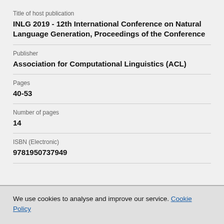Title of host publication
INLG 2019 - 12th International Conference on Natural Language Generation, Proceedings of the Conference
Publisher
Association for Computational Linguistics (ACL)
Pages
40-53
Number of pages
14
ISBN (Electronic)
9781950737949
We use cookies to analyse and improve our service. Cookie Policy